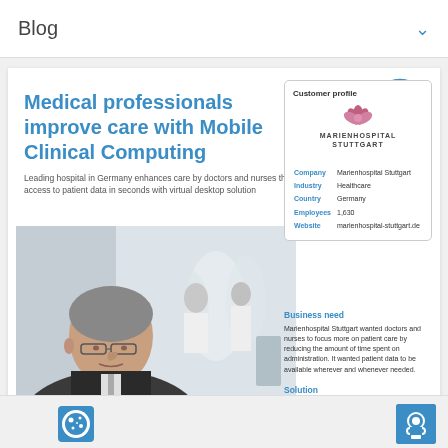Blog
Medical professionals improve care with Mobile Clinical Computing
Leading hospital in Germany enhances care by doctors and nurses thanks to access to patient data in seconds with virtual desktop solution
[Figure (photo): Portrait of a male medical professional in a suit with glasses, with blurred hospital staff in background]
| Field | Value |
| --- | --- |
| Company | Marienhospital Stuttgart |
| Industry | Healthcare |
| Country | Germany |
| Employees | 1,630 |
| Website | marienhospital-stuttgart.de |
Business need
Marienhospital Stuttgart wanted doctors and nurses to focus more on patient care by reducing the amount of time spent on administration. It wanted patient data to be available wherever and whenever needed.
Solution
The hospital worked with Dell Healthcare consultants to develop